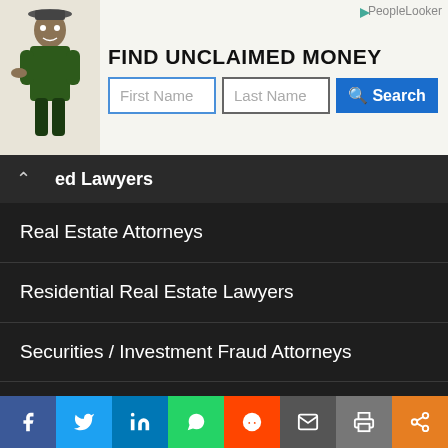[Figure (infographic): PeopleLooker advertisement banner: FIND UNCLAIMED MONEY with First Name and Last Name input fields and a Search button. Features an illustrated figure of a man pointing.]
ed Lawyers
Real Estate Attorneys
Residential Real Estate Lawyers
Securities / Investment Fraud Attorneys
Securities Offerings Lawyers
Sexual Harassment Attorneys
Slip and Fall Accident Lawyers
Social Security Lawyers
Speeding / Traffic Ticket Lawyers